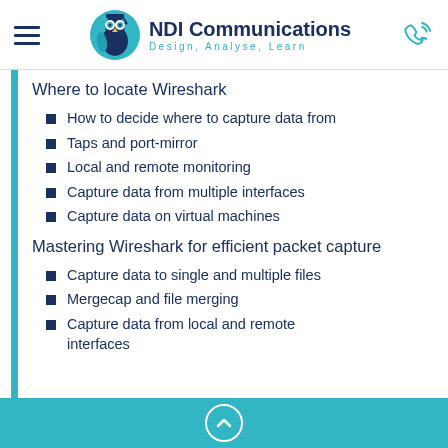NDI Communications — Design, Analyse, Learn
Where to locate Wireshark
How to decide where to capture data from
Taps and port-mirror
Local and remote monitoring
Capture data from multiple interfaces
Capture data on virtual machines
Mastering Wireshark for efficient packet capture
Capture data to single and multiple files
Mergecap and file merging
Capture data from local and remote interfaces